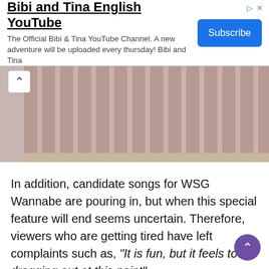[Figure (infographic): YouTube advertisement banner for 'Bibi and Tina English YouTube' with a Subscribe button, ad icons (triangle and X) in top right corner.]
[Figure (photo): Photo of a stage with draped curtains in a dusty rose/mauve color. A chevron/up-arrow icon appears in the top-left corner.]
In addition, candidate songs for WSG Wannabe are pouring in, but when this special feature will end seems uncertain. Therefore, viewers who are getting tired have left complaints such as, "It is fun, but it feels too dragging out at this point".
However, curiosity is also increasing regarding the upcoming developments. WSG Wannabe's selection of an agency is making viewers excited. In the next